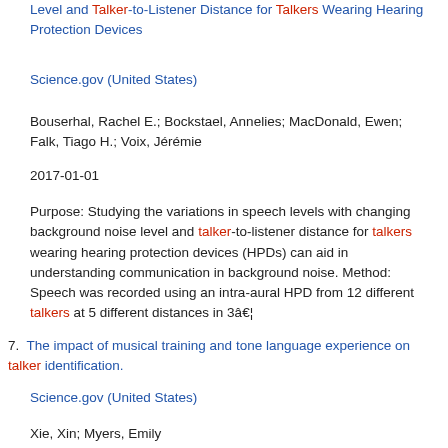Level and Talker-to-Listener Distance for Talkers Wearing Hearing Protection Devices
Science.gov (United States)
Bouserhal, Rachel E.; Bockstael, Annelies; MacDonald, Ewen; Falk, Tiago H.; Voix, Jérémie
2017-01-01
Purpose: Studying the variations in speech levels with changing background noise level and talker-to-listener distance for talkers wearing hearing protection devices (HPDs) can aid in understanding communication in background noise. Method: Speech was recorded using an intra-aural HPD from 12 different talkers at 5 different distances in 3â€¦
7. The impact of musical training and tone language experience on talker identification.
Science.gov (United States)
Xie, Xin; Myers, Emily